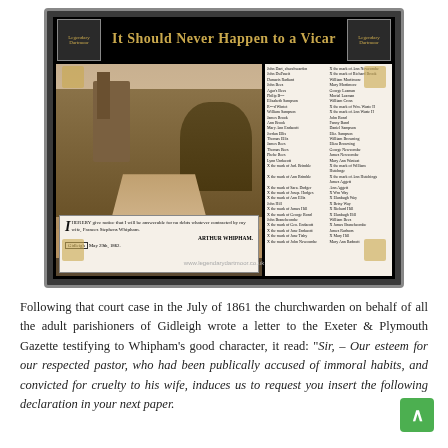[Figure (photo): A decorative black-framed image panel titled 'It Should Never Happen to a Vicar' featuring a sepia photograph of Gidleigh church/village on the left, a historical list of parishioner names on the right (a petition document), and a newspaper notice at the bottom left from Arthur Whipham dated Gidleigh, May 29th, 1862, disclaiming responsibility for his wife Frances Stephens Whipham's debts.]
Following that court case in the July of 1861 the churchwarden on behalf of all the adult parishioners of Gidleigh wrote a letter to the Exeter & Plymouth Gazette testifying to Whipham's good character, it read: "Sir, – Our esteem for our respected pastor, who had been publically accused of immoral habits, and convicted for cruelty to his wife, induces us to request you insert the following declaration in your next paper.